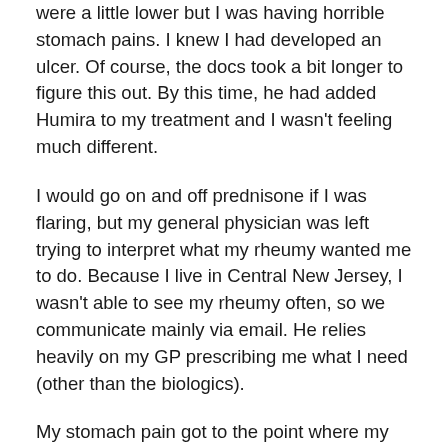were a little lower but I was having horrible stomach pains. I knew I had developed an ulcer. Of course, the docs took a bit longer to figure this out. By this time, he had added Humira to my treatment and I wasn't feeling much different.
I would go on and off prednisone if I was flaring, but my general physician was left trying to interpret what my rheumy wanted me to do. Because I live in Central New Jersey, I wasn't able to see my rheumy often, so we communicate mainly via email. He relies heavily on my GP prescribing me what I need (other than the biologics).
My stomach pain got to the point where my GP and rheumy decided I needed to see a gastro. The gastro ordered an endoscopy the next day and discovered an esophageal ulcer (which I knew was there). I've been on